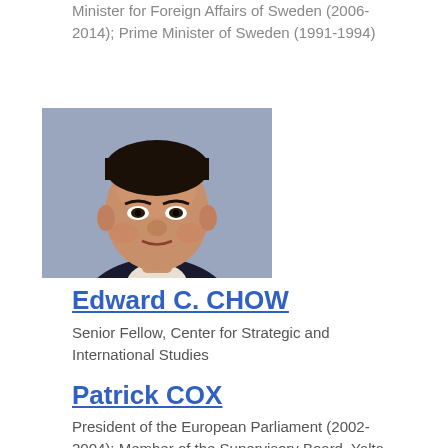Minister for Foreign Affairs of Sweden (2006-2014); Prime Minister of Sweden (1991-1994)
[Figure (photo): Headshot portrait of Edward C. Chow, an Asian man in a suit, against a blue-grey background]
Edward C. CHOW
Senior Fellow, Center for Strategic and International Studies
Patrick COX
President of the European Parliament (2002-2004); Member of the Supervisory Board, Yalta European